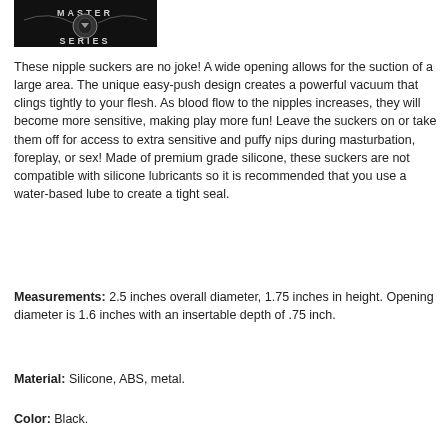[Figure (photo): Master Series product logo/image with dark metallic design on black background]
These nipple suckers are no joke! A wide opening allows for the suction of a large area. The unique easy-push design creates a powerful vacuum that clings tightly to your flesh. As blood flow to the nipples increases, they will become more sensitive, making play more fun! Leave the suckers on or take them off for access to extra sensitive and puffy nips during masturbation, foreplay, or sex! Made of premium grade silicone, these suckers are not compatible with silicone lubricants so it is recommended that you use a water-based lube to create a tight seal.
Measurements: 2.5 inches overall diameter, 1.75 inches in height. Opening diameter is 1.6 inches with an insertable depth of .75 inch.
Material: Silicone, ABS, metal.
Color: Black.